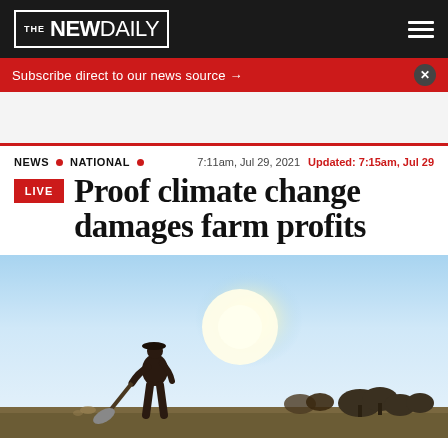THE NEW DAILY
Subscribe direct to our news source →
NEWS • NATIONAL • 7:11am, Jul 29, 2021  Updated: 7:15am, Jul 29
Proof climate change damages farm profits
[Figure (photo): Silhouette of a farmer digging with a shovel in a bright sunlit field, backlit by strong sunlight with blue sky and sparse trees in the background.]